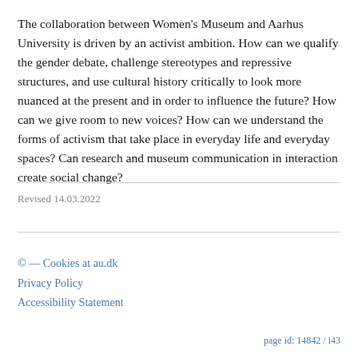The collaboration between Women's Museum and Aarhus University is driven by an activist ambition. How can we qualify the gender debate, challenge stereotypes and repressive structures, and use cultural history critically to look more nuanced at the present and in order to influence the future? How can we give room to new voices? How can we understand the forms of activism that take place in everyday life and everyday spaces? Can research and museum communication in interaction create social change?
Revised 14.03.2022
© — Cookies at au.dk
Privacy Policy
Accessibility Statement
page id: 14842 / i43